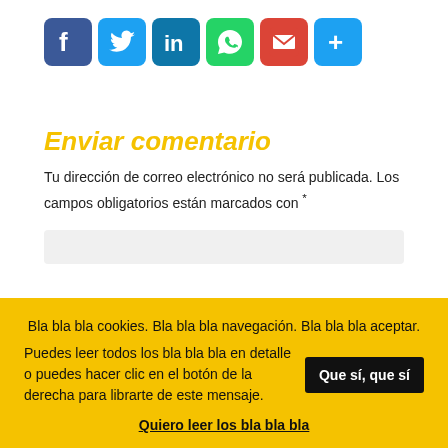[Figure (illustration): Row of social media share buttons: Facebook (blue), Twitter (light blue), LinkedIn (teal/blue), WhatsApp (green), Gmail (red), and a plus/share button (light blue), each as a rounded square icon with white symbol.]
Enviar comentario
Tu dirección de correo electrónico no será publicada. Los campos obligatorios están marcados con *
Bla bla bla cookies. Bla bla bla navegación. Bla bla bla aceptar. Puedes leer todos los bla bla bla en detalle o puedes hacer clic en el botón de la derecha para librarte de este mensaje.  Que sí, que sí
Quiero leer los bla bla bla